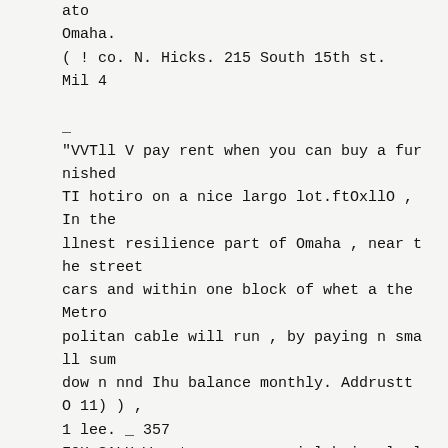ato
Omaha.
( ! co. N. Hicks. 215 South 15th st.
Mil 4

_
"VVTll V pay rent when you can buy a fur
nished
TI hotiro on a nice largo lot.ftOxllO ,
In the
llnest resilience part of Omaha , near t
he street
cars and within one block of whet a the
Metro
politan cable will run , by paying n sma
ll sum
dow n nnd Ihu balance monthly. Addrustt
O 11) ) ,
1 lee. _ 357
FOH SALU Wo otrerns a special b.irgnlu l
f.i )